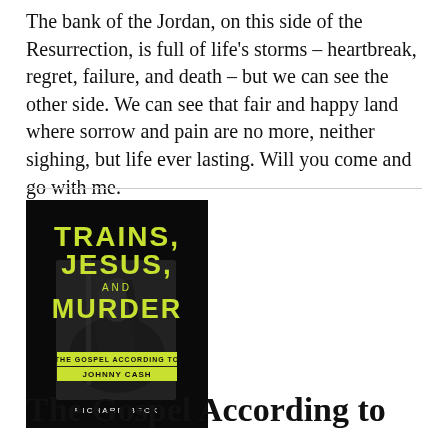The bank of the Jordan, on this side of the Resurrection, is full of life's storms – heartbreak, regret, failure, and death – but we can see the other side. We can see that fair and happy land where sorrow and pain are no more, neither sighing, but life ever lasting. Will you come and go with me.
[Figure (photo): Book cover of 'Trains, Jesus, and Murder: The Gospel According to Johnny Cash' by Richard Beck. Black background with yellow-green title text and a black-and-white photo of a man playing guitar.]
The Gospel According to